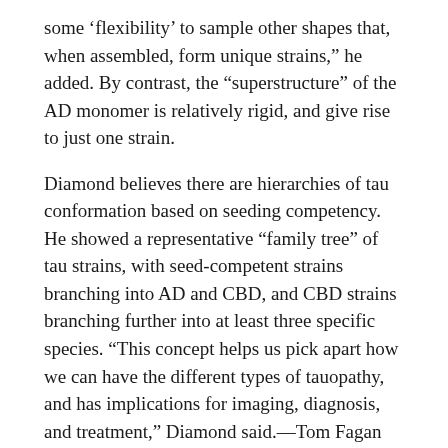some 'flexibility' to sample other shapes that, when assembled, form unique strains,” he added. By contrast, the “superstructure” of the AD monomer is relatively rigid, and give rise to just one strain.
Diamond believes there are hierarchies of tau conformation based on seeding competency. He showed a representative “family tree” of tau strains, with seed-competent strains branching into AD and CBD, and CBD strains branching further into at least three specific species. “This concept helps us pick apart how we can have the different types of tauopathy, and has implications for imaging, diagnosis, and treatment,” Diamond said.—Tom Fagan
COMMENTS
No Available Comments